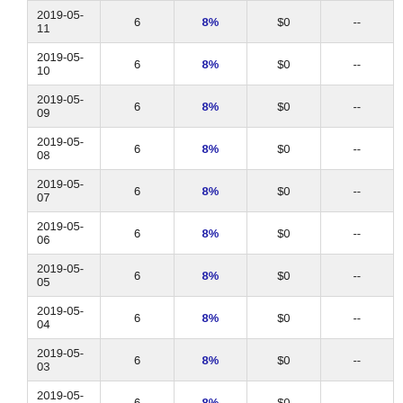| Date |  | Rate | Amount |  |
| --- | --- | --- | --- | --- |
| 2019-05-11 | 6 | 8% | $0 | -- |
| 2019-05-10 | 6 | 8% | $0 | -- |
| 2019-05-09 | 6 | 8% | $0 | -- |
| 2019-05-08 | 6 | 8% | $0 | -- |
| 2019-05-07 | 6 | 8% | $0 | -- |
| 2019-05-06 | 6 | 8% | $0 | -- |
| 2019-05-05 | 6 | 8% | $0 | -- |
| 2019-05-04 | 6 | 8% | $0 | -- |
| 2019-05-03 | 6 | 8% | $0 | -- |
| 2019-05-02 | 6 | 8% | $0 | -- |
| 2019-05-01 | 6 | 8% | $0 | -- |
| 2019-04-30 | 5 | 10% | $0 | -- |
| 2019-04-29 | 5 | 10% | $0 | -- |
| 2019-04-28 | 5 | 10% | $0 | -- |
| 2019-04-27 | 5 | 10% | $0 | -- |
| 2019-04-26 | 5 | 10% | $0 | -- |